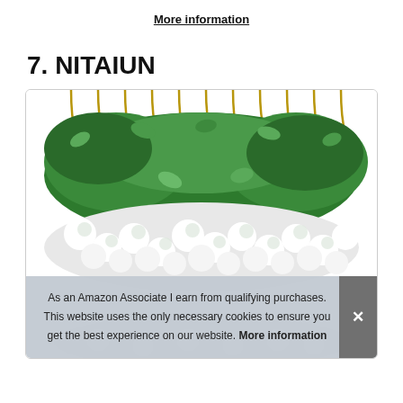More information
7. NITAIUN
[Figure (photo): Product photo showing multiple hanging artificial wisteria flower garlands with green leaves and white flowers, arranged in a dense display against a white background.]
As an Amazon Associate I earn from qualifying purchases. This website uses the only necessary cookies to ensure you get the best experience on our website. More information